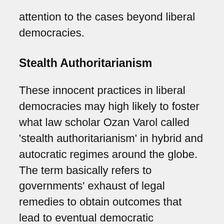attention to the cases beyond liberal democracies.
Stealth Authoritarianism
These innocent practices in liberal democracies may high likely to foster what law scholar Ozan Varol called ‘stealth authoritarianism’ in hybrid and autocratic regimes around the globe. The term basically refers to governments’ exhaust of legal remedies to obtain outcomes that lead to eventual democratic backsliding.[3] In most cases where stealth authoritarianism has observed, autocratic leaders/parties mimic laws and practices in liberal democracies to cover their real agenda. By this means, they